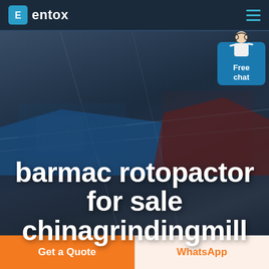entox
[Figure (photo): Aerial view of an industrial facility with large blue and red warehouse/factory buildings viewed from above, with roads and open land visible.]
[Figure (illustration): Customer service representative figure with 'Free chat' button in blue]
barmac rotopactor for sale chinagrindingmill
Get a Quote
WhatsApp